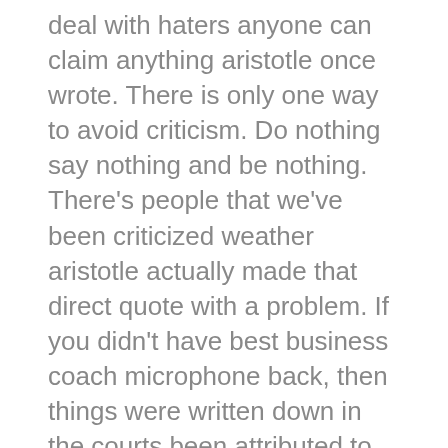deal with haters anyone can claim anything aristotle once wrote. There is only one way to avoid criticism. Do nothing say nothing and be nothing. There's people that we've been criticized weather aristotle actually made that direct quote with a problem. If you didn't have best business coach microphone back, then things were written down in the courts been attributed to aristotle over and over again, but maybe there's somebody out there that criticizes the idea that even aristotle what we're even said, that, turn it all I mean but again aristotle once wrote. There is only one way to avoid criticism. To do nothing say nothing, be nothing aristotle! There's only one way to avoid criticism. Do nothing say nothing and be nothing, looks repeat it again. There is only one way to avoid criticism. Do nothing say nothing and be nothing until the other day, I'm out there in an in new orleans hope we can company that I work with franchise and I get a call from client number one I get a call from client number 2 I get a call from client number. Three recent realize gosh. This guy's been pretty persistent. I got a call from a lot of client and I got a call from my client telling me the following eminem going to read to